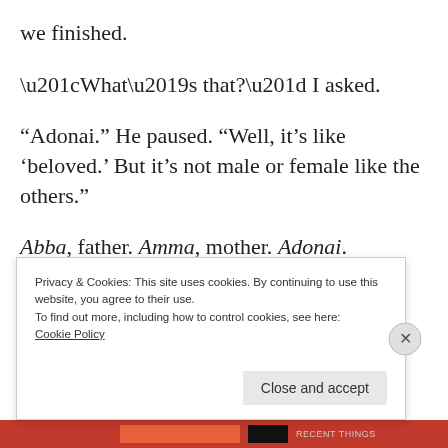we finished.
“What’s that?” I asked.
“Adonai.” He paused. “Well, it’s like ‘beloved.’ But it’s not male or female like the others.”
Abba, father. Amma, mother. Adonai.
Privacy & Cookies: This site uses cookies. By continuing to use this website, you agree to their use.
To find out more, including how to control cookies, see here: Cookie Policy